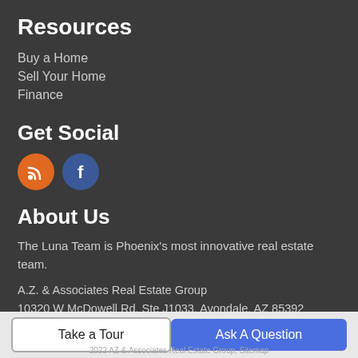Resources
Buy a Home
Sell Your Home
Finance
Get Social
[Figure (illustration): Orange RSS icon circle and blue Facebook icon circle]
About Us
The Luna Team is Phoenix's most innovative real estate team.
A.Z. & Associates Real Estate Group
10320 W McDowell Rd, Ste J1033, Avondale, AZ 85392
602-726-4215
Take a Tour   Ask A Question